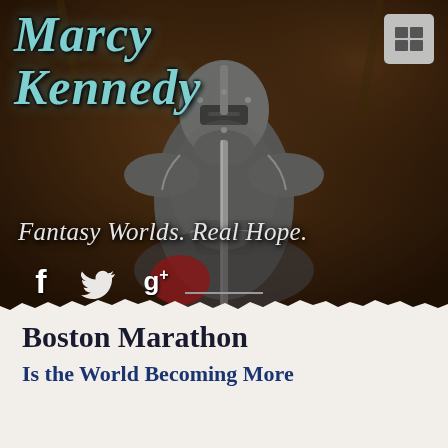[Figure (photo): Website header image for Marcy Kennedy author site, showing a knight in full medieval armor holding a sword in front of a dark stone background]
Marcy Kennedy
Fantasy Worlds. Real Hope.
[Figure (infographic): Social media icons: Facebook (f), Twitter (bird), Google+ (g+)]
Boston Marathon
Is the World Becoming More